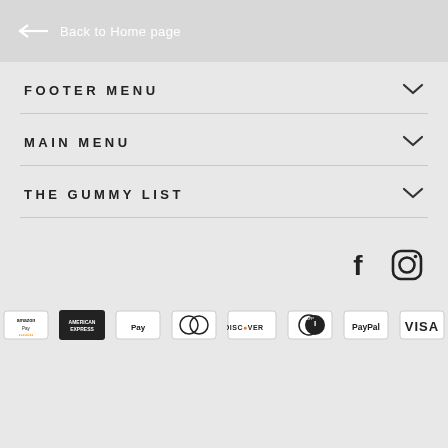← Back to Home page
FOOTER MENU
MAIN MENU
THE GUMMY LIST
[Figure (logo): Social media icons: Facebook and Instagram]
[Figure (logo): Payment method icons: Amazon Pay, American Express, Apple Pay, Diners Club, Discover, generic card, PayPal, Visa]